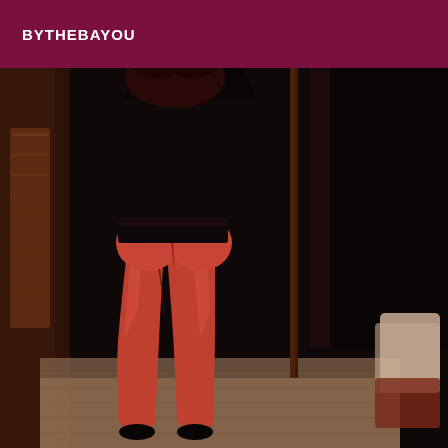BYTHEBAYOU
[Figure (photo): Person standing from behind wearing red/orange leggings and a dark top, photographed indoors in a dimly lit room with wood flooring and dark curtain in background.]